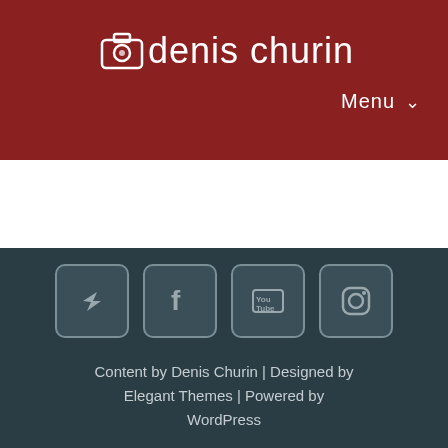denis churin
Menu
[Figure (screenshot): White empty section between header and footer]
[Figure (infographic): Four social media icon buttons: Twitter/share, Facebook, YouTube, Instagram]
Content by Denis Churin | Designed by Elegant Themes | Powered by WordPress